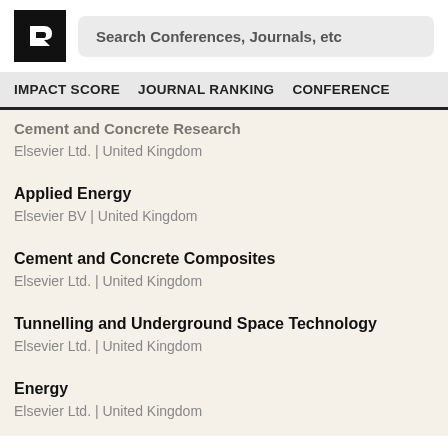[Figure (logo): Research ranking website logo - black square with white R arrow icon]
Search Conferences, Journals, etc
IMPACT SCORE   JOURNAL RANKING   CONFERENCE
Cement and Concrete Research
Elsevier Ltd. | United Kingdom
Applied Energy
Elsevier BV | United Kingdom
Cement and Concrete Composites
Elsevier Ltd. | United Kingdom
Tunnelling and Underground Space Technology
Elsevier Ltd. | United Kingdom
Energy
Elsevier Ltd. | United Kingdom
Automation in Construction